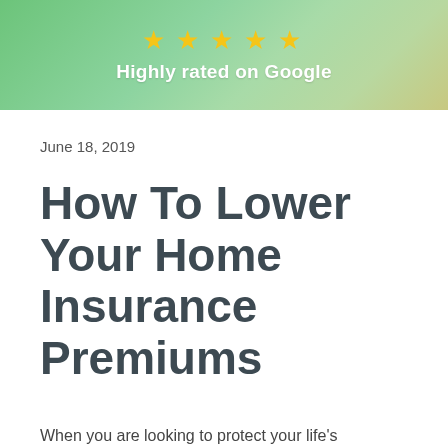[Figure (illustration): Green banner with five gold stars and text 'Highly rated on Google' on a decorative green background with leaf/plant imagery]
June 18, 2019
How To Lower Your Home Insurance Premiums
When you are looking to protect your life's